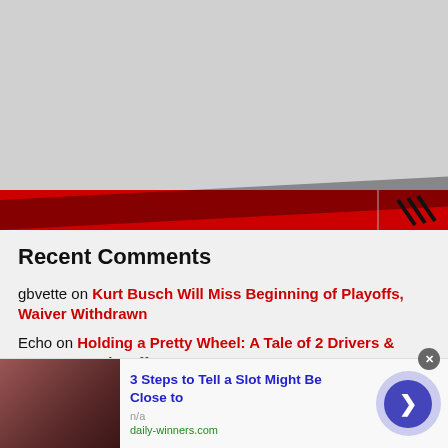[Figure (screenshot): Website header banner with red bar at bottom and logo/graphic marks on right side. Upper portion is gray/placeholder area.]
Recent Comments
gbvette on Kurt Busch Will Miss Beginning of Playoffs, Waiver Withdrawn
Echo on Holding a Pretty Wheel: A Tale of 2 Drivers & NASCAR’s Playoffs
Echo on Kurt Busch Will Miss Beginning of Playoffs, Waiver Withdrawn
[Figure (screenshot): Advertisement bar at bottom: thumbnail photo of a man, headline '3 Steps to Tell a Slot Might Be Close to', source 'n/a', URL 'daily-winners.com', blue circle arrow button, close X button.]